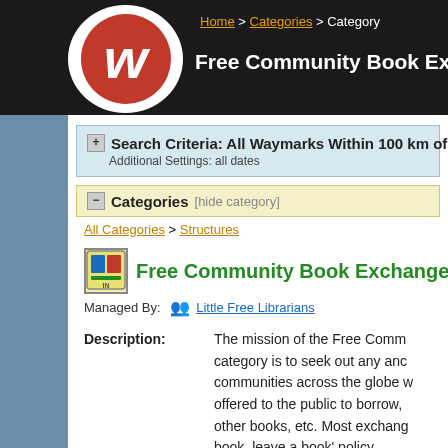Home > Categories > Category
Free Community Book Exchanges - A Waym...
Search Criteria: All Waymarks Within 100 km of N 37° 27.0...
Additional Settings: all dates
Categories [hide category]
All Categories > Structures
Free Community Book Exchanges ★
Managed By: Little Free Librarians
Description: The mission of the Free Comm... category is to seek out any anc... communities across the globe w... offered to the public to borrow,... other books, etc. Most exchang... book, leave a book' policy.
[show additional information]